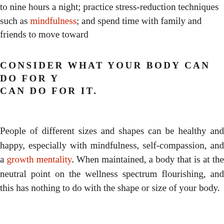to nine hours a night; practice stress-reduction techniques such as mindfulness; and spend time with family and friends to move toward
CONSIDER WHAT YOUR BODY CAN DO FOR Y CAN DO FOR IT.
People of different sizes and shapes can be healthy and happy, especially with mindfulness, self-compassion, and a growth mentality. When maintained, a body that is at the neutral point on the wellness spectrum flourishing, and this has nothing to do with the shape or size of your body.